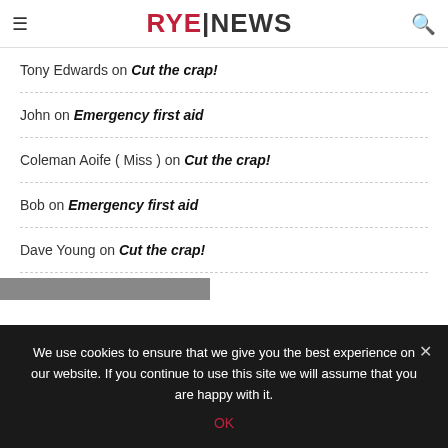RYE|NEWS
Tony Edwards on Cut the crap!
John on Emergency first aid
Coleman Aoife ( Miss ) on Cut the crap!
Bob on Emergency first aid
Dave Young on Cut the crap!
We use cookies to ensure that we give you the best experience on our website. If you continue to use this site we will assume that you are happy with it.
OK